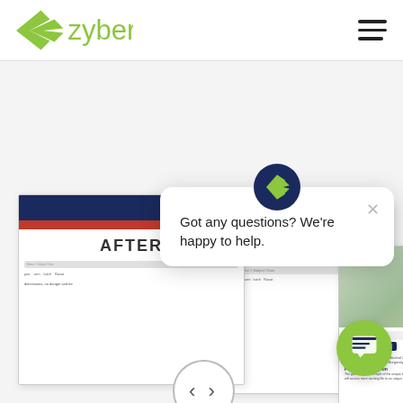[Figure (screenshot): Zyber website header with green logo and hamburger menu on top navigation bar]
[Figure (screenshot): Screenshot of an e-commerce website redesign showing AFTER state with dark navy header and red bar, alongside a product page screenshot and a chat popup widget saying 'Got any questions? We're happy to help.' with a green chat button]